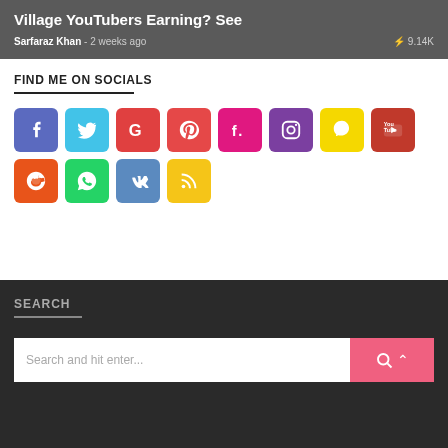Village YouTubers Earning? See
Sarfaraz Khan - 2 weeks ago · 9.14K
FIND ME ON SOCIALS
[Figure (infographic): Social media icon grid: Facebook, Twitter, Google+, Pinterest, Flickr, Instagram, Snapchat, YouTube, Reddit (row 1); WhatsApp, VK, RSS (row 2)]
SEARCH
Search and hit enter...